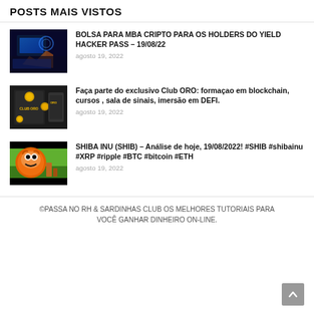POSTS MAIS VISTOS
BOLSA PARA MBA CRIPTO PARA OS HOLDERS DO YIELD HACKER PASS – 19/08/22
agosto 19, 2022
Faça parte do exclusivo Club ORO: formaçao em blockchain, cursos , sala de sinais, imersão em DEFI.
agosto 19, 2022
SHIBA INU (SHIB) – Análise de hoje, 19/08/2022! #SHIB #shibainu #XRP #ripple #BTC #bitcoin #ETH
agosto 19, 2022
©PASSA NO RH & SARDINHAS CLUB OS MELHORES TUTORIAIS PARA VOCÊ GANHAR DINHEIRO ON-LINE.